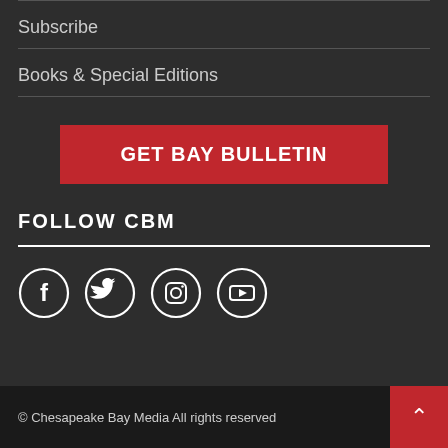Subscribe
Books & Special Editions
GET BAY BULLETIN
FOLLOW CBM
[Figure (illustration): Four social media icons in circles: Facebook, Twitter, Instagram, YouTube]
© Chesapeake Bay Media All rights reserved